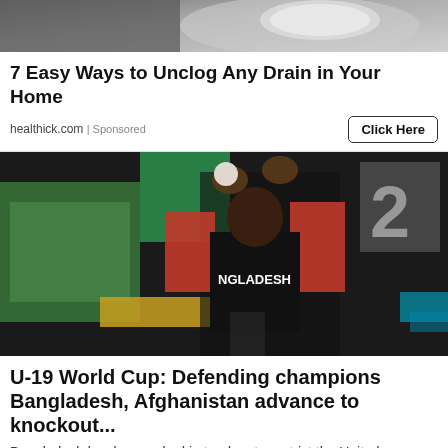[Figure (photo): Partial photo of a person at top of page, cropped advertisement image]
7 Easy Ways to Unclog Any Drain in Your Home
healthick.com | Sponsored   [Click Here button]
[Figure (photo): Cricket player in Bangladesh red and black jersey celebrating with cricket ball raised above head, number 2 visible in background]
U-19 World Cup: Defending champions Bangladesh, Afghanistan advance to knockout...
Bangladesh bowlers worked in tandem to restrict the United